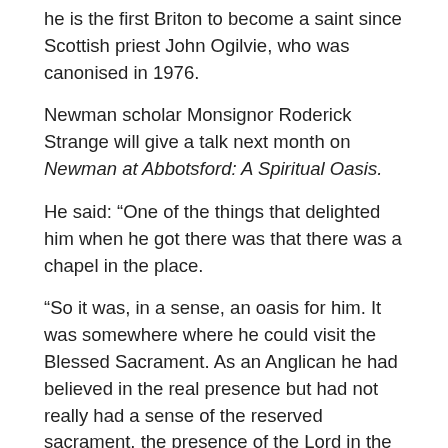he is the first Briton to become a saint since Scottish priest John Ogilvie, who was canonised in 1976.
Newman scholar Monsignor Roderick Strange will give a talk next month on Newman at Abbotsford: A Spiritual Oasis.
He said: “One of the things that delighted him when he got there was that there was a chapel in the place.
“So it was, in a sense, an oasis for him. It was somewhere where he could visit the Blessed Sacrament. As an Anglican he had believed in the real presence but had not really had a sense of the reserved sacrament, the presence of the Lord in the home, as it was there.”